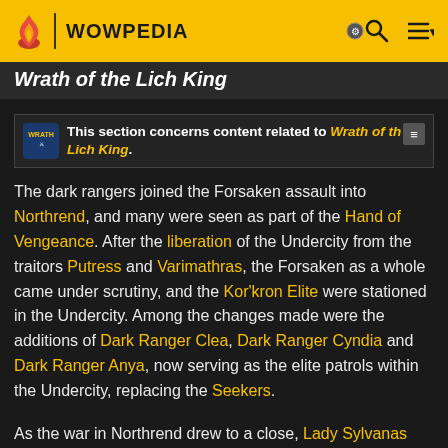WOWPEDIA
Wrath of the Lich King
This section concerns content related to Wrath of the Lich King.
The dark rangers joined the Forsaken assault into Northrend, and many were seen as part of the Hand of Vengeance. After the liberation of the Undercity from the traitors Putress and Varimathras, the Forsaken as a whole came under scrutiny, and the Kor'kron Elite were stationed in the Undercity. Among the changes made were the additions of Dark Ranger Clea, Dark Ranger Cyndia and Dark Ranger Anya, now serving as the elite patrols within the Undercity, replacing the Seekers.
As the war in Northrend drew to a close, Lady Sylvanas herself headed to the Frozen Hills to take...